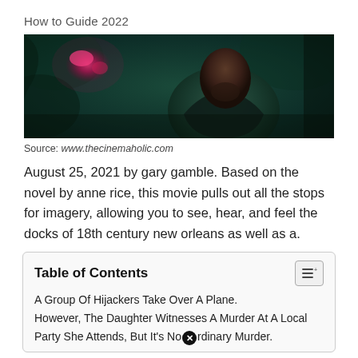How to Guide 2022
[Figure (photo): Dark cinematic still from a movie showing a man in a dark jacket with a pink/red magical splash or wound near his chest, set against a dark teal forest background.]
Source: www.thecinemaholic.com
August 25, 2021 by gary gamble. Based on the novel by anne rice, this movie pulls out all the stops for imagery, allowing you to see, hear, and feel the docks of 18th century new orleans as well as a.
Table of Contents
A Group Of Hijackers Take Over A Plane.
However, The Daughter Witnesses A Murder At A Local Party She Attends, But It's No[x]rdinary Murder.